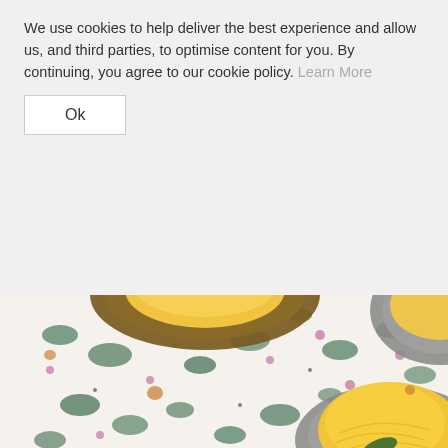We use cookies to help deliver the best experience and allow us, and third parties, to optimise content for you. By continuing, you agree to our cookie policy. Learn More
Ok
[Figure (photo): Overhead view of bowls containing yellow ice cream scoops on a colorful speckled surface with green, pink, and white patterns resembling terrazzo or floral print. One bowl visible at top center, one partially visible at top right, and one larger bowl at bottom right showing a large yellow scoop with a green leaf.]